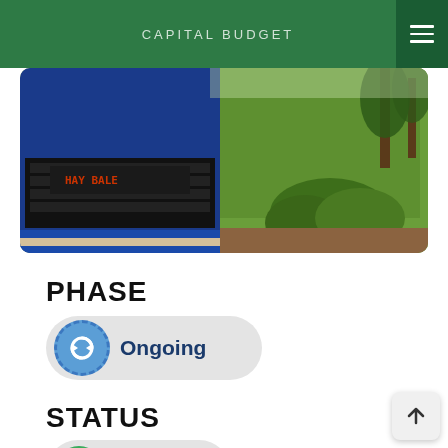CAPITAL BUDGET
[Figure (photo): Close-up photo of a blue vehicle/bus bumper on the left and green lawn with shrubs on the right, outdoor scene]
PHASE
Ongoing
STATUS
Ongoing (status badge, partially visible at bottom)